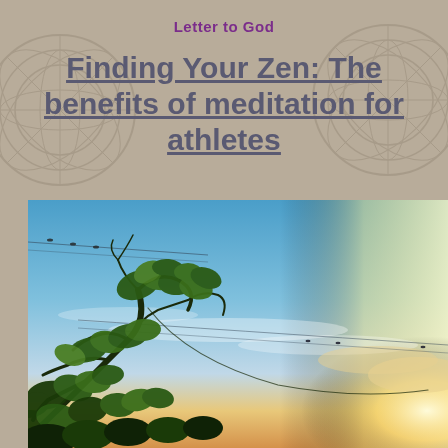Letter to God
Finding Your Zen: The benefits of meditation for athletes
[Figure (photo): Outdoor nature photo showing a blue and golden sky at sunset with green tree branches and twigs in the foreground, and birds perched on wires in the background.]